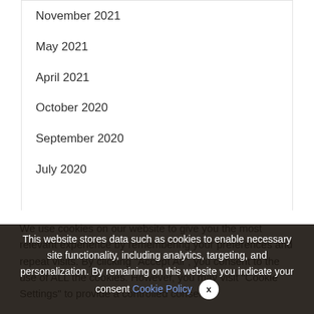November 2021
May 2021
April 2021
October 2020
September 2020
July 2020
Categories
Entertainment
We use cookies on our website to give you the most relevant experience by remembering your preferences and repeat visits. By clicking "Accept All", you consent to the use of ALL the cookies. However, you may visit "Cookie Settings" to provide a controlled consent.
This website stores data such as cookies to enable necessary site functionality, including analytics, targeting, and personalization. By remaining on this website you indicate your consent Cookie Policy